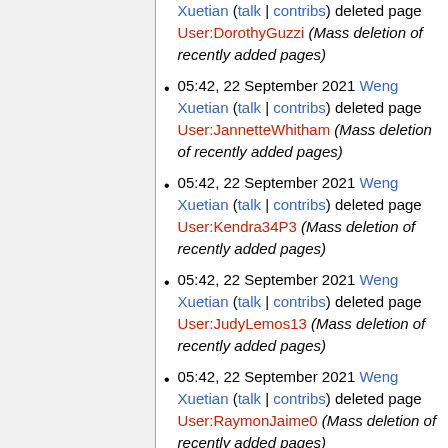Xuetian (talk | contribs) deleted page User:DorothyGuzzi (Mass deletion of recently added pages)
05:42, 22 September 2021 Weng Xuetian (talk | contribs) deleted page User:JannetteWhitham (Mass deletion of recently added pages)
05:42, 22 September 2021 Weng Xuetian (talk | contribs) deleted page User:Kendra34P3 (Mass deletion of recently added pages)
05:42, 22 September 2021 Weng Xuetian (talk | contribs) deleted page User:JudyLemos13 (Mass deletion of recently added pages)
05:42, 22 September 2021 Weng Xuetian (talk | contribs) deleted page User:RaymonJaime0 (Mass deletion of recently added pages)
05:42, 22 September 2021 Weng